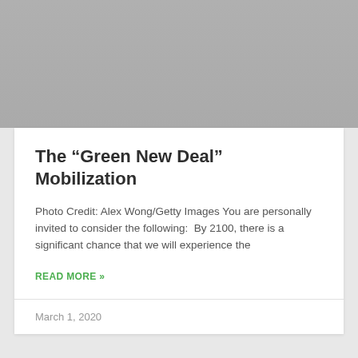[Figure (photo): Gray placeholder image for article photo, gradient from medium gray to lighter gray]
The “Green New Deal” Mobilization
Photo Credit: Alex Wong/Getty Images You are personally invited to consider the following:  By 2100, there is a significant chance that we will experience the
READ MORE »
March 1, 2020